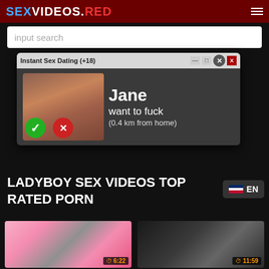SEXVIDEOS.RED
input search
[Figure (screenshot): Ad popup: Instant Sex Dating (+18) window with image, checkmark, X button, and text 'Jane want to fuck (0.4 km from home)']
LADYBOY SEX VIDEOS TOP RATED PORN
EN
[Figure (photo): Video thumbnail - pink background with cartoon character, duration 6:22]
ladyboy  reality  shemales  tra...
[Figure (photo): Video thumbnail - dark background, duration 11:59]
ladyboy  shemales  tranny  tra...